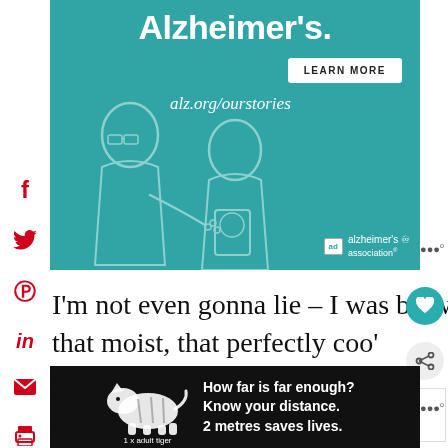[Figure (illustration): Alzheimer's Association advertisement banner with teal background. Title 'Alzheimer's.' in large white text, LEARN MORE button, alz.org/ourstories URL, illustrated image of elderly man and younger person, Alzheimer's Association logo and 'ad' badge.]
[Figure (infographic): Social media sharing sidebar with Facebook (f), Twitter bird, Pinterest (P), LinkedIn (in), Email (envelope), and Print icons in red on the left side.]
I'm not even gonna lie – I was blown away. I didn't expect it to be that moist, that perfectly coo'
[Figure (illustration): Heart (favourite) button — teal circle with white heart icon]
[Figure (illustration): Share button — grey circle with share icon]
[Figure (other): WHAT'S NEXT → Sous Vide Carnitas — small card with food thumbnail image]
[Figure (illustration): Bottom advertisement: black background with white tiger illustration labelled '1 x adult tiger', text 'How far is far enough? Know your distance. 2 metres saves lives.' with close X button.]